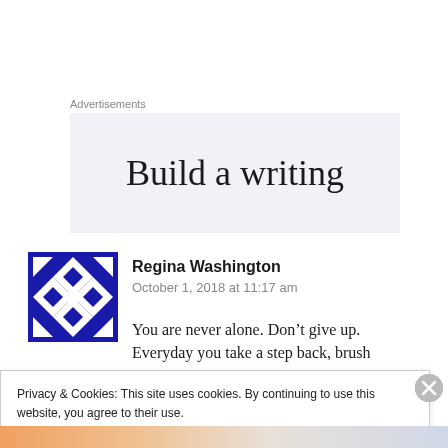Advertisements
[Figure (screenshot): Advertisement banner with partial text 'Build a writing' on a light blue-gray background]
[Figure (illustration): Blue and white geometric/diamond pattern avatar image for user Regina Washington]
Regina Washington
October 1, 2018 at 11:17 am
You are never alone. Don’t give up. Everyday you take a step back, brush yourself off and...
Privacy & Cookies: This site uses cookies. By continuing to use this website, you agree to their use.
To find out more, including how to control cookies, see here: Cookie Policy
Close and accept